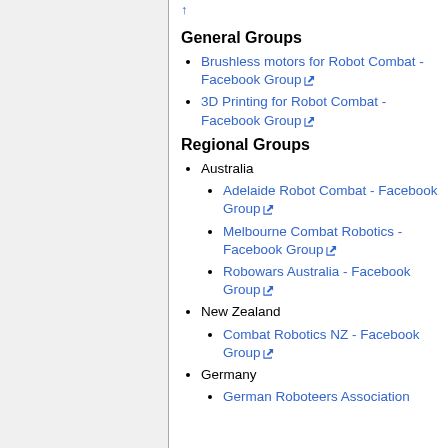General Groups
Brushless motors for Robot Combat - Facebook Group
3D Printing for Robot Combat - Facebook Group
Regional Groups
Australia
Adelaide Robot Combat - Facebook Group
Melbourne Combat Robotics - Facebook Group
Robowars Australia - Facebook Group
New Zealand
Combat Robotics NZ - Facebook Group
Germany
German Roboteers Association